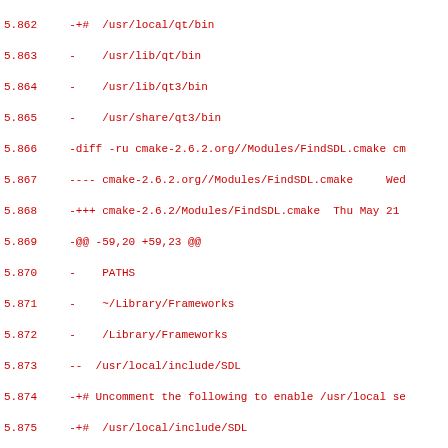Code diff snippet showing lines 5.862 through 5.893, displaying changes to cmake FindSDL and FindQt configuration paths
5.862  -+#  /usr/local/qt/bin
5.863  -    /usr/lib/qt/bin
5.864  -    /usr/lib/qt3/bin
5.865  -    /usr/share/qt3/bin
5.866  -diff -ru cmake-2.6.2.org//Modules/FindSDL.cmake cma
5.867  ---- cmake-2.6.2.org//Modules/FindSDL.cmake      Wed
5.868  -+++ cmake-2.6.2/Modules/FindSDL.cmake  Thu May 21 :
5.869  -@@ -59,20 +59,23 @@
5.870  -    PATHS
5.871  -    ~/Library/Frameworks
5.872  -    /Library/Frameworks
5.873  --  /usr/local/include/SDL
5.874  -+# Uncomment the following to enable /usr/local sea
5.875  -+#  /usr/local/include/SDL
5.876  -    /usr/include/SDL
5.877  --  /usr/local/include/SDL12
5.878  --  /usr/local/include/SDL11 # FreeBSD ports
5.879  -+# Uncomment the following to enable /usr/local sea
5.880  -+#  /usr/local/include/SDL12
5.881  -+#  /usr/local/include/SDL11 # FreeBSD ports
5.882  -    /usr/include/SDL12
5.883  -    /usr/include/SDL11
5.884  --  /usr/local/include
5.885  -+#  /usr/local/include
5.886  -    /usr/include
5.887  -    /sw/include/SDL # Fink
5.888  -    /sw/include
5.889  -    /opt/local/include/SDL # DarwinPorts
5.890  -    /opt/local/include
5.891  --  /opt/csw/include/SDL # Blastwave
5.892  --  /opt/csw/include
5.893  -+# Uncomment the following to enable /opt/csw sea